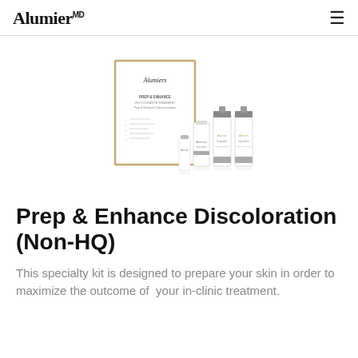AlumierMD
[Figure (photo): AlumierMD Prep & Enhance Discoloration (Non-HQ) specialty kit showing a gold-bordered white box and four skincare products: a small vial, a cream tube, and two pump bottles with silver tops]
Prep & Enhance Discoloration (Non-HQ)
This specialty kit is designed to prepare your skin in order to maximize the outcome of your in-clinic treatment.